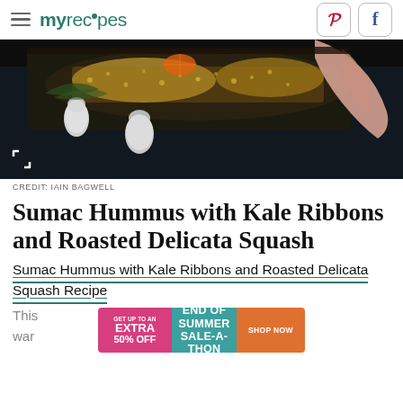myrecipes
[Figure (photo): Overhead dark photo of food dish on dark background with hand reaching in, salt and pepper shakers visible]
CREDIT: IAIN BAGWELL
Sumac Hummus with Kale Ribbons and Roasted Delicata Squash
Sumac Hummus with Kale Ribbons and Roasted Delicata Squash Recipe
This [ad banner overlay] some warm [text cut off]
[Figure (infographic): Advertisement banner: GET UP TO AN EXTRA 50% OFF | END OF SUMMER SALE-A-THON | SHOP NOW]